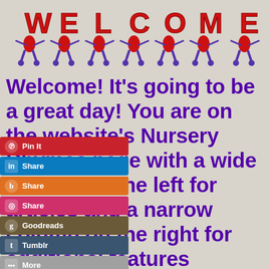[Figure (illustration): Animated WELCOME banner with cartoon characters holding hands, each letter in red with small cartoon figures below on a gray background]
Welcome! It's going to be a great day! You are on the website's Nursery Rhymes page with a wide column on the left for articles and a narrow column on the right for additional features including links to more than 70 other pages. Continue traveling down this page
[Figure (infographic): Social sharing buttons: Pin It (Pinterest, red), Share (LinkedIn, blue), Share (Blogger, orange), Share (Instagram, pink), Goodreads (brown), Tumblr (dark blue), More (gray)]